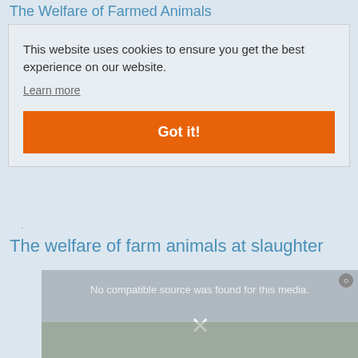The Welfare of Farmed Animals
This website uses cookies to ensure you get the best experience on our website.
Learn more
Got it!
The welfare of farm animals at slaughter
[Figure (screenshot): Video player showing 'No compatible source was found for this media.' with a close (X) button and a dismiss X overlay on top of a faded image of farm animals.]